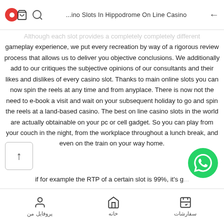...ino Slots In Hippodrome On Line Casino
Although each slot provides a completely completely different gameplay experience, we put every recreation by way of a rigorous review process that allows us to deliver you objective conclusions. We additionally add to our critiques the subjective opinions of our consultants and their likes and dislikes of every casino slot. Thanks to main online slots you can now spin the reels at any time and from anyplace. There is now not the need to e-book a visit and wait on your subsequent holiday to go and spin the reels at a land-based casino. The best on line casino slots in the world are actually obtainable on your pc or cell gadget. So you can play from your couch in the night, from the workplace throughout a lunch break, and even on the train on your way home.
if for example the RTP of a certain slot is 99%, it's g... ...ving back 99% for every $1...
پروفایل من | خانه | سفارشات